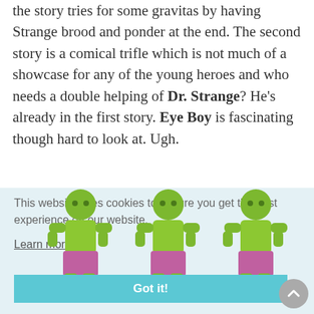the story tries for some gravitas by having Strange brood and ponder at the end. The second story is a comical trifle which is not much of a showcase for any of the young heroes and who needs a double helping of Dr. Strange? He's already in the first story. Eye Boy is fascinating though hard to look at. Ugh.
This website uses cookies to ensure you get the best experience on our website.
Learn more
[Figure (illustration): Three repeated cartoon Hulk figures with green skin and pink/purple shorts, overlaid on cookie consent banner]
Got it!